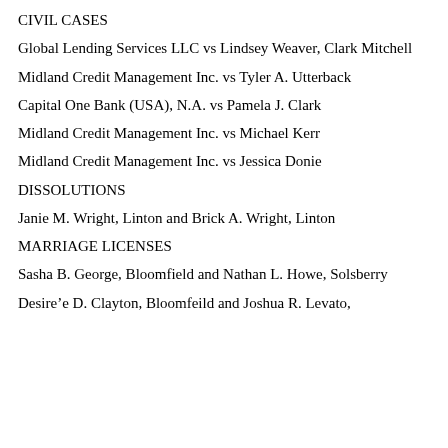CIVIL CASES
Global Lending Services LLC vs Lindsey Weaver, Clark Mitchell
Midland Credit Management Inc. vs Tyler A. Utterback
Capital One Bank (USA), N.A. vs Pamela J. Clark
Midland Credit Management Inc. vs Michael Kerr
Midland Credit Management Inc. vs Jessica Donie
DISSOLUTIONS
Janie M. Wright, Linton and Brick A. Wright, Linton
MARRIAGE LICENSES
Sasha B. George, Bloomfield and Nathan L. Howe, Solsberry
Desire’e D. Clayton, Bloomfeild and Joshua R. Levato,